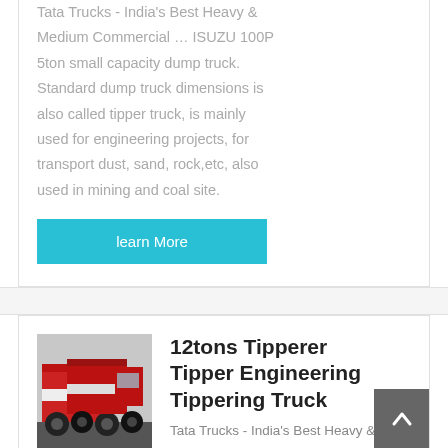Tata Trucks - India's Best Heavy & Medium Commercial … ISUZU 100P 5ton small capacity dump truck. Standard dump truck dimensions is also called tipper truck, is mainly used for engineering projects, for transport dust, sand, rock,etc, also used in mining and coal site.
learn More
[Figure (photo): Photo of red and white tipper/tipperer trucks parked side by side, viewed from a low angle showing the front and side of the vehicles.]
12tons Tipperer Tipper Engineering Tippering Truck
Tata Trucks - India's Best Heavy &